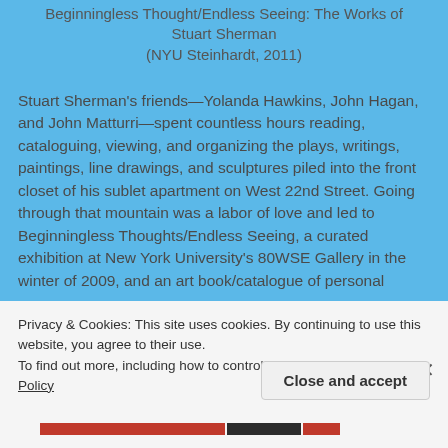Beginningless Thought/Endless Seeing: The Works of Stuart Sherman (NYU Steinhardt, 2011)
Stuart Sherman's friends—Yolanda Hawkins, John Hagan, and John Matturri—spent countless hours reading, cataloguing, viewing, and organizing the plays, writings, paintings, line drawings, and sculptures piled into the front closet of his sublet apartment on West 22nd Street. Going through that mountain was a labor of love and led to Beginningless Thoughts/Endless Seeing, a curated exhibition at New York University's 80WSE Gallery in the winter of 2009, and an art book/catalogue of personal
Privacy & Cookies: This site uses cookies. By continuing to use this website, you agree to their use.
To find out more, including how to control cookies, see here: Cookie Policy
Close and accept